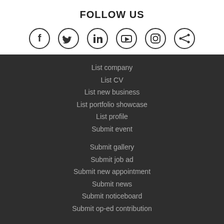FOLLOW US
[Figure (infographic): Six social media icons in circles: Facebook, Twitter, LinkedIn, YouTube, Instagram, Share]
List company
List CV
List new business
List portfolio showcase
List profile
Submit event
Submit gallery
Submit job ad
Submit new appointment
Submit news
Submit noticeboard
Submit op-ed contribution
Home
My job ads
My events
My company